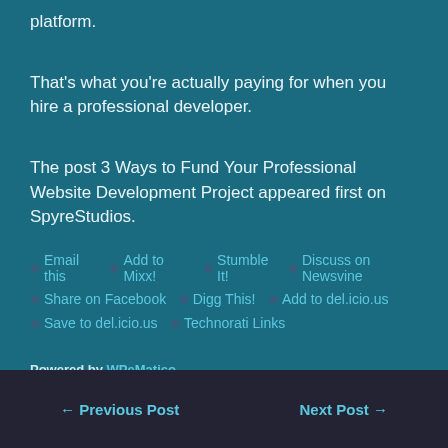platform.
That’s what you’re actually paying for when you hire a professional developer.
The post 3 Ways to Fund Your Professional Website Development Project appeared first on SpyreStudios.
◆ Email this  ◆ Add to Mixx!  ◆ Stumble It!  ◆ Discuss on Newsvine
◆ Share on Facebook  ◆ Digg This!  ◆ Add to del.icio.us
◆ Save to del.icio.us  ◆ Technorati Links
Powered by WPeMatico
← Previous Post    Next Post →